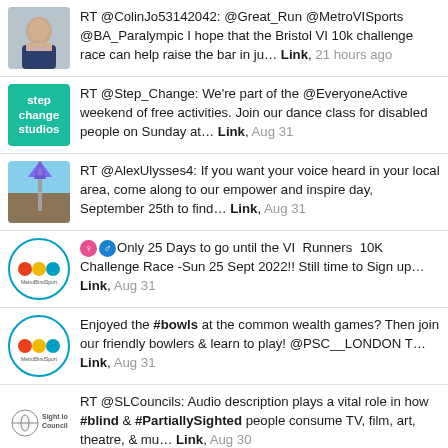RT @ColinJo53142042: @Great_Run @MetroVISports @BA_Paralympic I hope that the Bristol VI 10k challenge race can help raise the bar in ju… Link, 21 hours ago
RT @Step_Change: We're part of the @EveryoneActive weekend of free activities. Join our dance class for disabled people on Sunday at… Link, Aug 31
RT @AlexUlysses4: If you want your voice heard in your local area, come along to our empower and inspire day, September 25th to find… Link, Aug 31
♀♂ Only 25 Days to go until the VI Runners 10K Challenge Race -Sun 25 Sept 2022!! Still time to Sign up… Link, Aug 31
Enjoyed the #bowls at the common wealth games? Then join our friendly bowlers & learn to play! @PSC__LONDON T… Link, Aug 31
RT @SLCouncils: Audio description plays a vital role in how #blind & #PartiallySighted people consume TV, film, art, theatre, & mu… Link, Aug 30